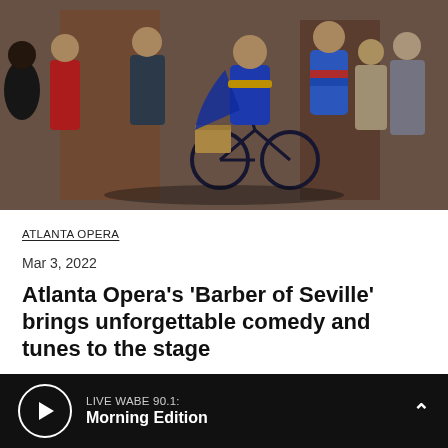[Figure (photo): Stage performance photo showing performers in colorful costumes, one riding a bicycle, from Atlanta Opera's Barber of Seville production]
ATLANTA OPERA
Mar 3, 2022
Atlanta Opera’s ‘Barber of Seville’ brings unforgettable comedy and tunes to the stage
LIVE WABE 90.1: Morning Edition